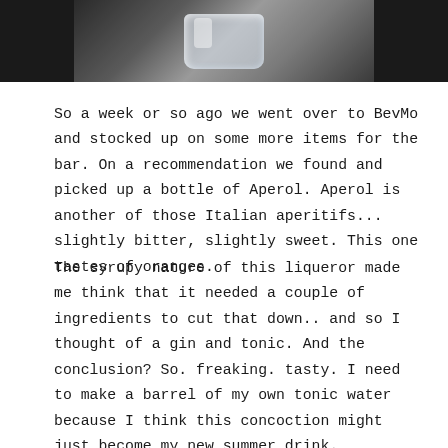[Figure (photo): Dark background photo showing a glass with a reflective/clear drink, partial crop at top of page]
So a week or so ago we went over to BevMo and stocked up on some more items for the bar. On a recommendation we found and picked up a bottle of Aperol. Aperol is another of those Italian aperitifs... slightly bitter, slightly sweet. This one tastes of oranges.
The syrupy nature of this liqueror made me think that it needed a couple of ingredients to cut that down.. and so I thought of a gin and tonic. And the conclusion? So. freaking. tasty. I need to make a barrel of my own tonic water because I think this concoction might just become my new summer drink.